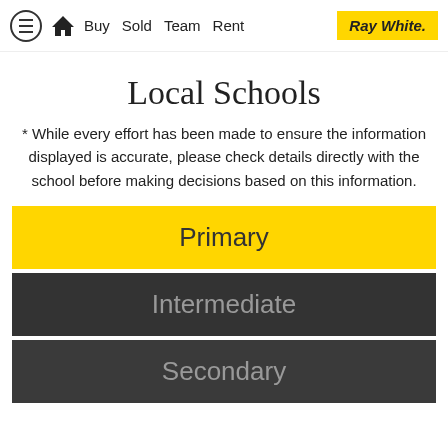≡ 🏠 Buy Sold Team Rent | Ray White.
Local Schools
* While every effort has been made to ensure the information displayed is accurate, please check details directly with the school before making decisions based on this information.
Primary
Intermediate
Secondary